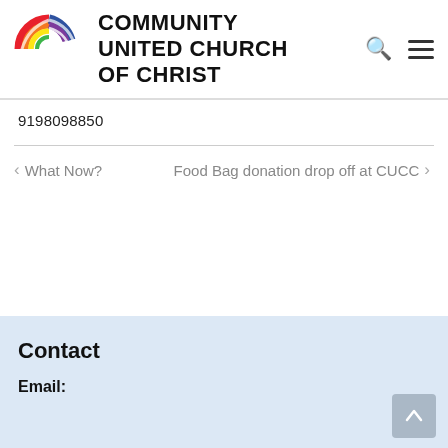[Figure (logo): Community United Church of Christ logo: rainbow spiral circle with organization name in bold black text to the right, plus search and hamburger menu icons]
9198098850
< What Now?
Food Bag donation drop off at CUCC >
Contact
Email: